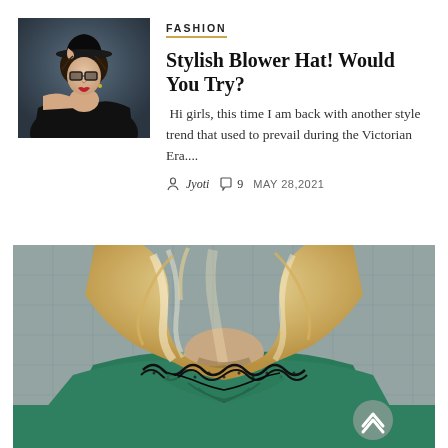[Figure (photo): Woman wearing black bowler hat and glasses, off-shoulder black top, red lipstick, styled hair]
FASHION
Stylish Blower Hat! Would You Try?
Hi girls, this time I am back with another style trend that used to prevail during the Victorian Era....
Jyoti  9  MAY 28,2021
[Figure (photo): Woman with tousled blonde hair, wearing green top with black lace neckline detail, viewed from behind]